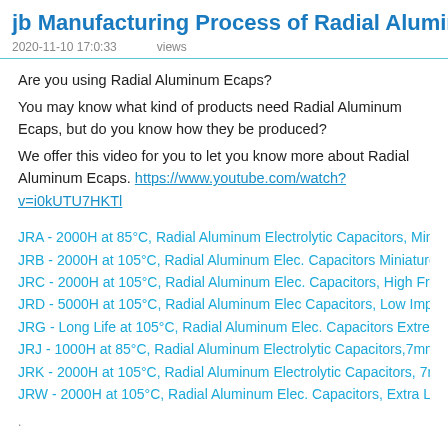jb Manufacturing Process of Radial Aluminum Elec
2020-11-10 17:0:33    views
Are you using Radial Aluminum Ecaps?
You may know what kind of products need Radial Aluminum Ecaps, but do you know how they be produced?
We offer this video for you to let you know more about Radial Aluminum Ecaps. https://www.youtube.com/watch?v=i0kUTU7HKTl
JRA - 2000H at 85°C, Radial Aluminum Electrolytic Capacitors, Minia
JRB - 2000H at 105°C, Radial Aluminum Elec. Capacitors Miniature a
JRC - 2000H at 105°C, Radial Aluminum Elec. Capacitors, High Freq
JRD - 5000H at 105°C, Radial Aluminum Elec Capacitors, Low Impe
JRG - Long Life at 105°C, Radial Aluminum Elec. Capacitors Extreme
JRJ - 1000H at 85°C, Radial Aluminum Electrolytic Capacitors,7mm L
JRK - 2000H at 105°C, Radial Aluminum Electrolytic Capacitors, 7mm
JRW - 2000H at 105°C, Radial Aluminum Elec. Capacitors, Extra Low